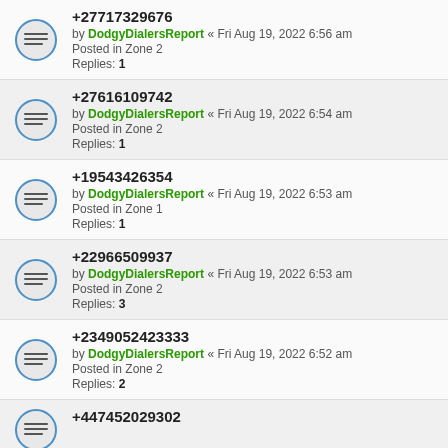+27717329676 by DodgyDialersReport « Fri Aug 19, 2022 6:56 am Posted in Zone 2 Replies: 1
+27616109742 by DodgyDialersReport « Fri Aug 19, 2022 6:54 am Posted in Zone 2 Replies: 1
+19543426354 by DodgyDialersReport « Fri Aug 19, 2022 6:53 am Posted in Zone 1 Replies: 1
+22966509937 by DodgyDialersReport « Fri Aug 19, 2022 6:53 am Posted in Zone 2 Replies: 3
+2349052423333 by DodgyDialersReport « Fri Aug 19, 2022 6:52 am Posted in Zone 2 Replies: 2
+447452029302